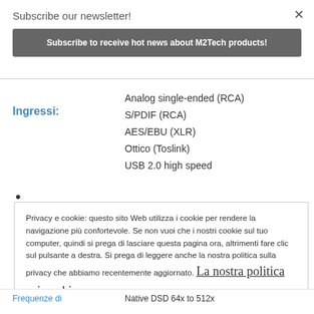Subscribe our newsletter!
Subscribe to receive hot news about M2Tech products!
Ingressi:
Analog single-ended (RCA)
S/PDIF (RCA)
AES/EBU (XLR)
Ottico (Toslink)
USB 2.0 high speed
Privacy e cookie: questo sito Web utilizza i cookie per rendere la navigazione più confortevole. Se non vuoi che i nostri cookie sul tuo computer, quindi si prega di lasciare questa pagina ora, altrimenti fare clic sul pulsante a destra. Si prega di leggere anche la nostra politica sulla privacy che abbiamo recentemente aggiornato. La nostra politica sui cookies
Capito!
Frequenze di
Native DSD 64x to 512x